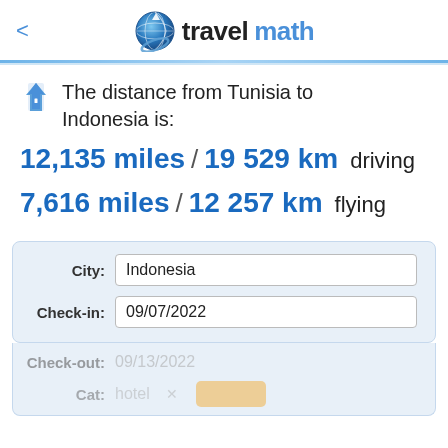[Figure (logo): TravelMath logo with globe icon, brand name 'travel' in black bold and 'math' in blue bold]
The distance from Tunisia to Indonesia is:
12,135 miles / 19 529 km  driving
7,616 miles / 12 257 km  flying
| Field | Value |
| --- | --- |
| City: | Indonesia |
| Check-in: | 09/07/2022 |
| Check-out: | 09/13/2022 |
| Cat: | hotel |